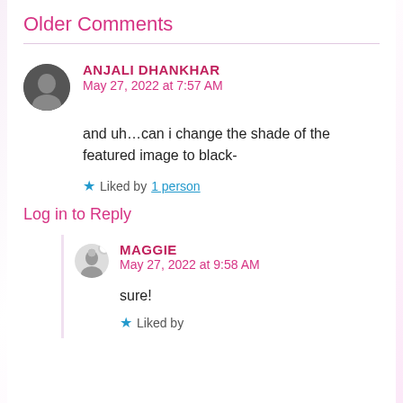Older Comments
ANJALI DHANKHAR
May 27, 2022 at 7:57 AM
and uh…can i change the shade of the featured image to black-
★ Liked by 1 person
Log in to Reply
MAGGIE
May 27, 2022 at 9:58 AM
sure!
★ Liked by